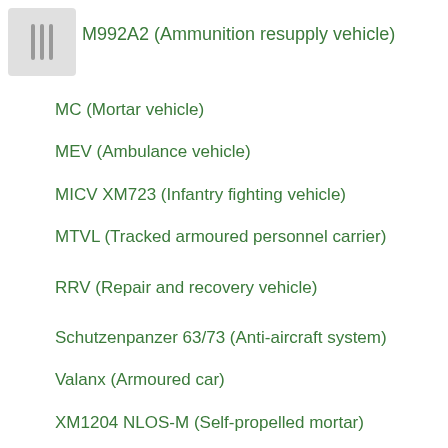[Figure (other): Thumbnail image placeholder with three vertical gray bars]
M992A2 (Ammunition resupply vehicle)
MC (Mortar vehicle)
MEV (Ambulance vehicle)
MICV XM723 (Infantry fighting vehicle)
MTVL (Tracked armoured personnel carrier)
RRV (Repair and recovery vehicle)
Schutzenpanzer 63/73 (Anti-aircraft system)
Valanx (Armoured car)
XM1204 NLOS-M (Self-propelled mortar)
XM734 (Tracked armoured personnel carrier)
XM777 (Gun-howitzer)
XRR 765 (Infantry fighting vehicle)